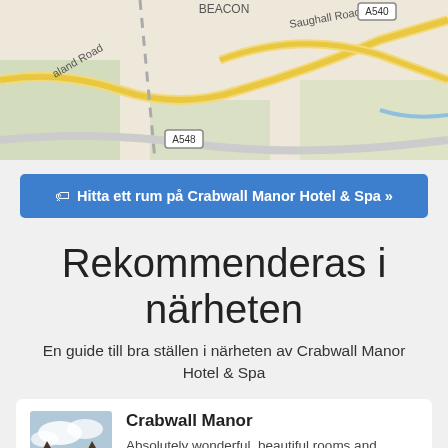[Figure (map): Street map showing roads including A548, A540, Saughall Road near Crabwall Manor Hotel area]
Hitta ett rum på Crabwall Manor Hotel & Spa »
Rekommenderas i närheten
En guide till bra ställen i närheten av Crabwall Manor Hotel & Spa
Crabwall Manor
Absolutely wonderful, beautiful rooms and bathrooms. Staff were wonderful, ful and kind...